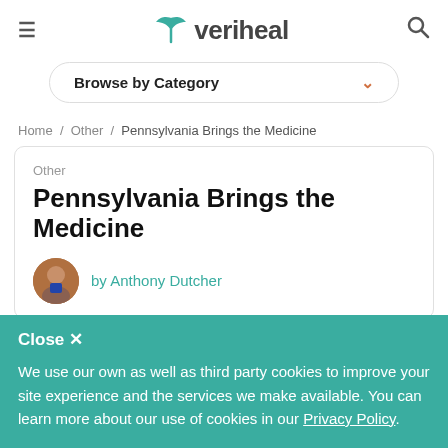veriheal
[Figure (other): Browse by Category dropdown selector with chevron]
Home / Other / Pennsylvania Brings the Medicine
Other
Pennsylvania Brings the Medicine
by Anthony Dutcher
Close ✕
We use our own as well as third party cookies to improve your site experience and the services we make available. You can learn more about our use of cookies in our Privacy Policy.